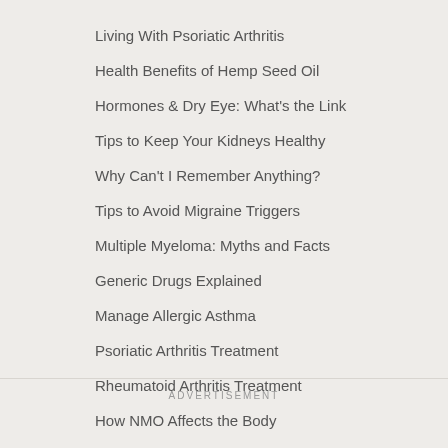Living With Psoriatic Arthritis
Health Benefits of Hemp Seed Oil
Hormones & Dry Eye: What's the Link
Tips to Keep Your Kidneys Healthy
Why Can't I Remember Anything?
Tips to Avoid Migraine Triggers
Multiple Myeloma: Myths and Facts
Generic Drugs Explained
Manage Allergic Asthma
Psoriatic Arthritis Treatment
Rheumatoid Arthritis Treatment
How NMO Affects the Body
ADVERTISEMENT